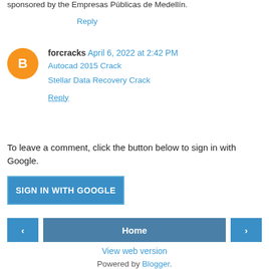sponsored by the Empresas Públicas de Medellín.
Reply
forcracks  April 6, 2022 at 2:42 PM
Autocad 2015 Crack
Stellar Data Recovery Crack
Reply
To leave a comment, click the button below to sign in with Google.
SIGN IN WITH GOOGLE
< Home >
View web version
Powered by Blogger.